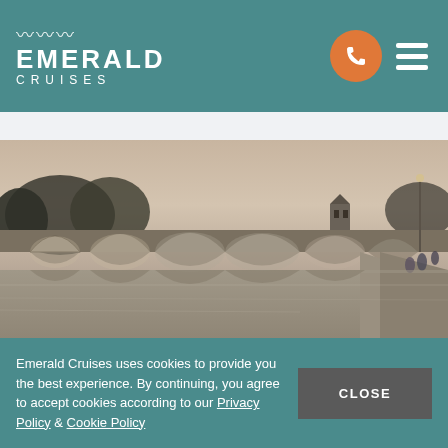EMERALD CRUISES
www.emeraldcruises.co.uk/river-cruises-specials
[Figure (photo): Photograph of a stone bridge with arches reflected in a calm river at dusk, with trees and a small chapel tower visible on the bridge, pedestrians on the right bank.]
Dec 9, 2016
What Makes an Emerald
Emerald Cruises uses cookies to provide you the best experience. By continuing, you agree to accept cookies according to our Privacy Policy & Cookie Policy